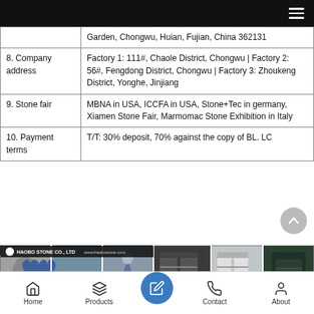| Field | Value |
| --- | --- |
|  | Garden, Chongwu, Huian, Fujian, China 362131 |
| 8. Company address | Factory 1: 111#, Chaole District, Chongwu | Factory 2: 56#, Fengdong District, Chongwu | Factory 3: Zhoukeng District, Yonghe, Jinjiang |
| 9. Stone fair | MBNA in USA, ICCFA in USA, Stone+Tec in germany, Xiamen Stone Fair, Marmomac Stone Exhibition in Italy |
| 10. Payment terms | T/T: 30% deposit, 70% against the copy of BL. LC |
WHY HAOBO STONE?
[Figure (photo): Photo strip showing various stone products including monuments, mausoleums, and carved granite pieces from Haobo Stone Co., Ltd, with company branding and website www.haobostone.com]